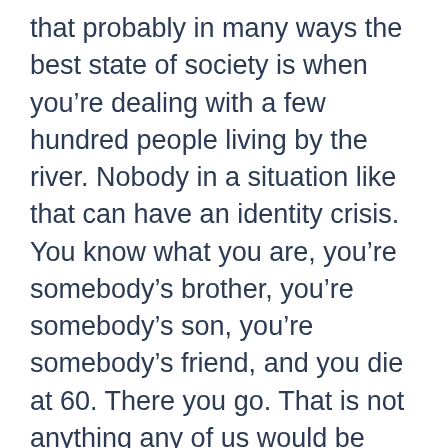that probably in many ways the best state of society is when you're dealing with a few hundred people living by the river. Nobody in a situation like that can have an identity crisis. You know what you are, you're somebody's brother, you're somebody's son, you're somebody's friend, and you die at 60. There you go. That is not anything any of us would be waiting for, but yeah, you don't want to be an individual. If you're in a nation that has a very strong national identity, usually a small one, then part of your identity is you are an Estonian.
That's easy. I'm picking Estonia just randomly. That's easy for an Estonian. If you're in a society like…